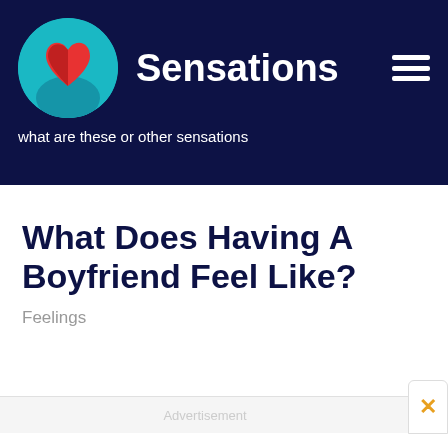Sensations — what are these or other sensations
What Does Having A Boyfriend Feel Like?
Feelings
Advertisement